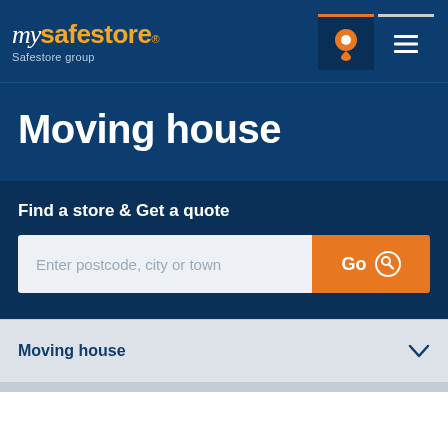[Figure (logo): My Safestore logo with location pin icon and hamburger menu icon]
Moving house
Find a store & Get a quote
Enter postcode, city or town
Moving house